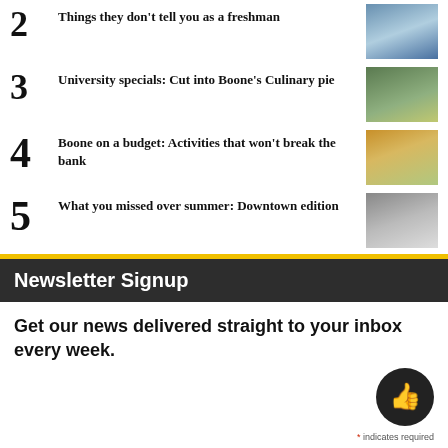2 Things they don't tell you as a freshman
3 University specials: Cut into Boone's Culinary pie
4 Boone on a budget: Activities that won't break the bank
5 What you missed over summer: Downtown edition
Newsletter Signup
Get our news delivered straight to your inbox every week.
* indicates required